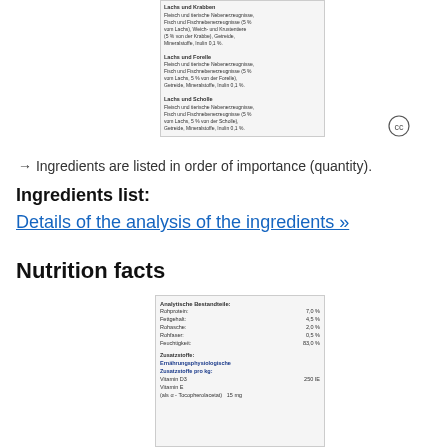[Figure (photo): Product label image showing ingredients list in German for Lachs und Krabben, Lachs und Forelle, and Lachs und Scholle varieties]
[Figure (other): Creative Commons icon (CC)]
→ Ingredients are listed in order of importance (quantity).
Ingredients list:
Details of the analysis of the ingredients »
Nutrition facts
[Figure (photo): Product label image showing Analytische Bestandteile (analytical components): Rohprotein 7.0%, Fettgehalt 4.5%, Rohasche 2.0%, Rohfaser 0.5%, Feuchtigkeit 83.0%. Zusatzstoffe: Ernährungsphysiologische Zusatzstoffe pro kg: Vitamin D3 250 IE, Vitamin E (als a-Tocopherolacetat) 15 mg]